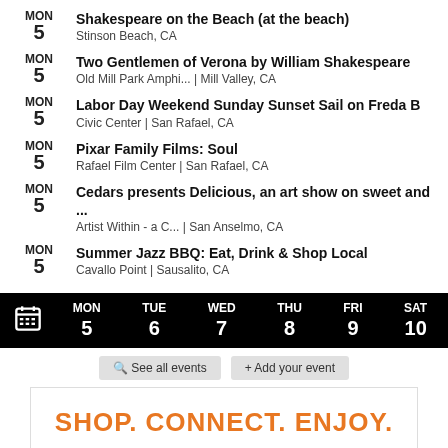MON 5 | Shakespeare on the Beach (at the beach) | Stinson Beach, CA
MON 5 | Two Gentlemen of Verona by William Shakespeare | Old Mill Park Amphi... | Mill Valley, CA
MON 5 | Labor Day Weekend Sunday Sunset Sail on Freda B | Civic Center | San Rafael, CA
MON 5 | Pixar Family Films: Soul | Rafael Film Center | San Rafael, CA
MON 5 | Cedars presents Delicious, an art show on sweet and ... | Artist Within - a C... | San Anselmo, CA
MON 5 | Summer Jazz BBQ: Eat, Drink & Shop Local | Cavallo Point | Sausalito, CA
MON 5  TUE 6  WED 7  THU 8  FRI 9  SAT 10
See all events  + Add your event
SHOP. CONNECT. ENJOY.